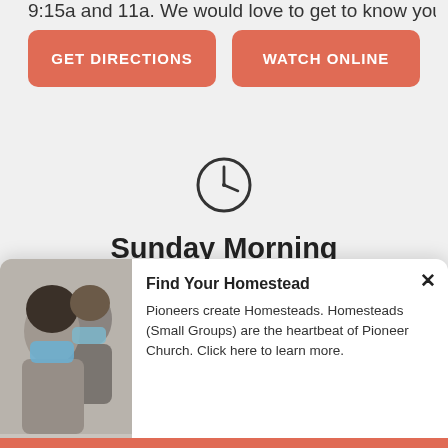9:15a and 11a. We would love to get to know you.
GET DIRECTIONS
WATCH ONLINE
[Figure (illustration): Clock icon (outline circle with clock hands showing approximately 9 o'clock)]
Sunday Morning
Sunday
[Figure (photo): Two women wearing blue face masks, indoors, one with dark curly hair in foreground]
Find Your Homestead
Pioneers create Homesteads. Homesteads (Small Groups) are the heartbeat of Pioneer Church. Click here to learn more.